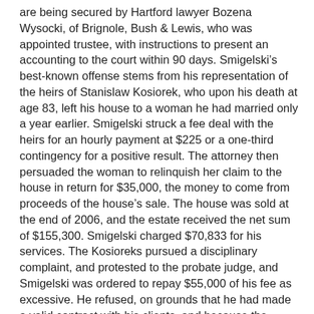are being secured by Hartford lawyer Bozena Wysocki, of Brignole, Bush & Lewis, who was appointed trustee, with instructions to present an accounting to the court within 90 days. Smigelski's best-known offense stems from his representation of the heirs of Stanislaw Kosiorek, who upon his death at age 83, left his house to a woman he had married only a year earlier. Smigelski struck a fee deal with the heirs for an hourly payment at $225 or a one-third contingency for a positive result. The attorney then persuaded the woman to relinquish her claim to the house in return for $35,000, the money to come from proceeds of the house's sale. The house was sold at the end of 2006, and the estate received the net sum of $155,300. Smigelski charged $70,833 for his services. The Kosioreks pursued a disciplinary complaint, and protested to the probate judge, and Smigelski was ordered to repay $55,000 of his fee as excessive. He refused, on grounds that he had made a valid contract with his clients, and because the money was “gone.” Connecticut Chief Disciplinary Counsel Mark Dubois, whose office has followed Smigelski’s career for years, said the “rule of reasonableness” controls, as embodied in Rule of Professional Responsibility 1.5(a). Smigelski has previously